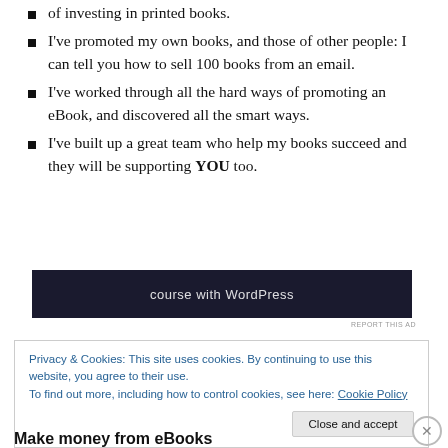of investing in printed books.
I've promoted my own books, and those of other people: I can tell you how to sell 100 books from an email.
I've worked through all the hard ways of promoting an eBook, and discovered all the smart ways.
I've built up a great team who help my books succeed and they will be supporting YOU too.
[Figure (screenshot): Dark banner advertisement showing text 'course with WordPress']
REPORT THIS AD
Privacy & Cookies: This site uses cookies. By continuing to use this website, you agree to their use.
To find out more, including how to control cookies, see here: Cookie Policy
Close and accept
Make money from eBooks